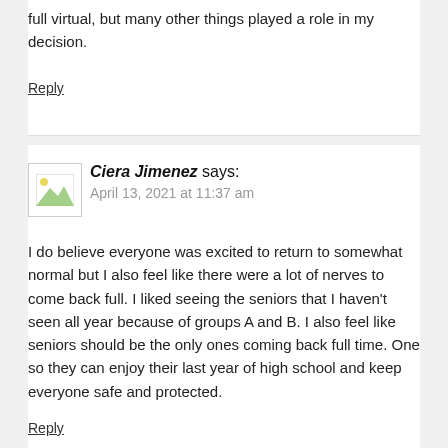full virtual, but many other things played a role in my decision.
Reply
Ciera Jimenez says:
April 13, 2021 at 11:37 am
I do believe everyone was excited to return to somewhat normal but I also feel like there were a lot of nerves to come back full. I liked seeing the seniors that I haven't seen all year because of groups A and B. I also feel like seniors should be the only ones coming back full time. One so they can enjoy their last year of high school and keep everyone safe and protected.
Reply